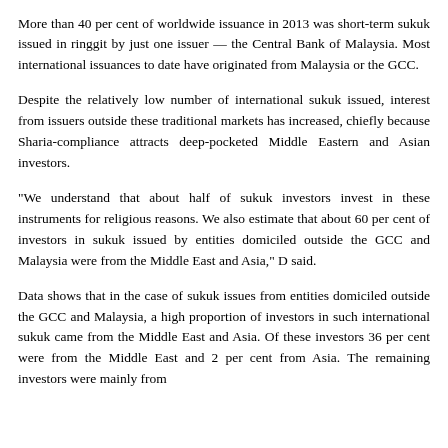More than 40 per cent of worldwide issuance in 2013 was short-term sukuk issued in ringgit by just one issuer — the Central Bank of Malaysia. Most international issuances to date have originated from Malaysia or the GCC.
Despite the relatively low number of international sukuk issued, interest from issuers outside these traditional markets has increased, chiefly because Sharia-compliance attracts deep-pocketed Middle Eastern and Asian investors.
"We understand that about half of sukuk investors invest in these instruments for religious reasons. We also estimate that about 60 per cent of investors in sukuk issued by entities domiciled outside the GCC and Malaysia were from the Middle East and Asia," D said.
Data shows that in the case of sukuk issues from entities domiciled outside the GCC and Malaysia, a high proportion of investors in such international sukuk came from the Middle East and Asia. Of these investors 36 per cent were from the Middle East and 2 per cent from Asia. The remaining investors were mainly from...